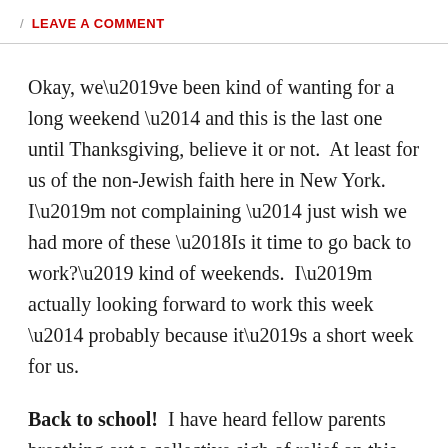/ LEAVE A COMMENT
Okay, we’ve been kind of wanting for a long weekend — and this is the last one until Thanksgiving, believe it or not.  At least for us of the non-Jewish faith here in New York.  I’m not complaining — just wish we had more of these ‘Is it time to go back to work?’ kind of weekends.  I’m actually looking forward to work this week — probably because it’s a short week for us.
Back to school!  I have heard fellow parents breathing out a collective sigh of relief on this one.  I just don’t get it.  Maybe it’s because I only have one, and my little guy has been on auto pilot whenever I was at work.  I’m excited more for him being in middle school now (yes